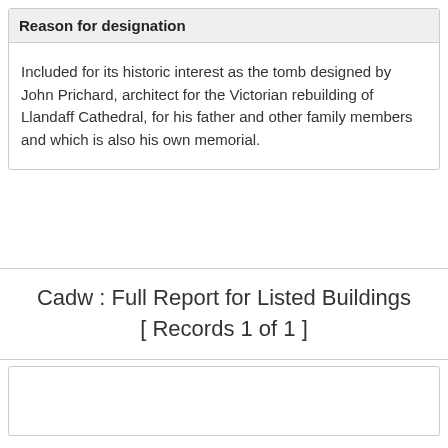Reason for designation
Included for its historic interest as the tomb designed by John Prichard, architect for the Victorian rebuilding of Llandaff Cathedral, for his father and other family members and which is also his own memorial.
Cadw : Full Report for Listed Buildings [ Records 1 of 1 ]
Export